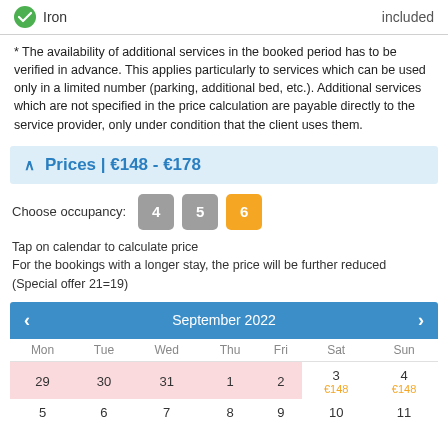Iron   included
* The availability of additional services in the booked period has to be verified in advance. This applies particularly to services which can be used only in a limited number (parking, additional bed, etc.). Additional services which are not specified in the price calculation are payable directly to the service provider, only under condition that the client uses them.
Prices | €148 - €178
Choose occupancy:  4  5  6
Tap on calendar to calculate price
For the bookings with a longer stay, the price will be further reduced
(Special offer 21=19)
| Mon | Tue | Wed | Thu | Fri | Sat | Sun |
| --- | --- | --- | --- | --- | --- | --- |
| 29 | 30 | 31 | 1 | 2 | 3
€148 | 4
€148 |
| 5 | 6 | 7 | 8 | 9 | 10 | 11 |